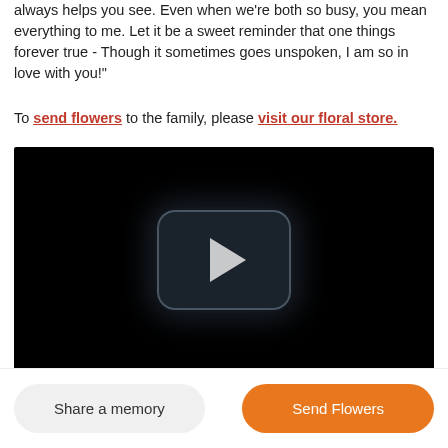always helps you see. Even when we're both so busy, you mean everything to me. Let it be a sweet reminder that one things forever true - Though it sometimes goes unspoken, I am so in love with you!"
To send flowers to the family, please visit our floral store.
[Figure (other): Video player with black background and a play button in the center]
Share a memory
Send Flowers